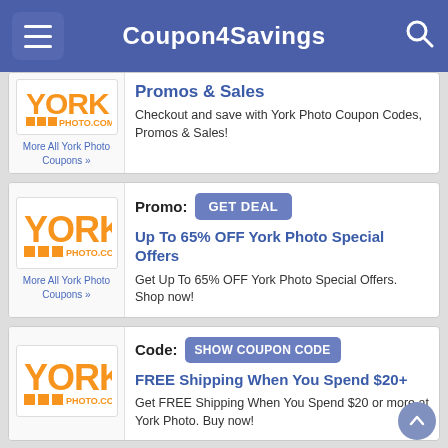Coupon4Savings
[Figure (logo): York Photo logo - partial card at top]
More All York Photo Coupons »
Promos & Sales
Checkout and save with York Photo Coupon Codes, Promos & Sales!
[Figure (logo): York Photo logo - second card]
More All York Photo Coupons »
Promo: GET DEAL
Up To 65% OFF York Photo Special Offers
Get Up To 65% OFF York Photo Special Offers. Shop now!
[Figure (logo): York Photo logo - third card]
Code: SHOW COUPON CODE
FREE Shipping When You Spend $20+
Get FREE Shipping When You Spend $20 or more at York Photo. Buy now!